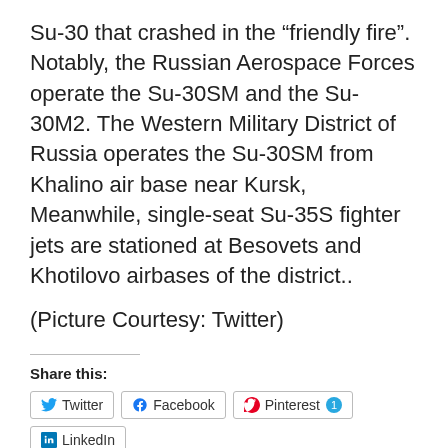Su-30 that crashed in the “friendly fire”. Notably, the Russian Aerospace Forces operate the Su-30SM and the Su-30M2. The Western Military District of Russia operates the Su-30SM from Khalino air base near Kursk, Meanwhile, single-seat Su-35S fighter jets are stationed at Besovets and Khotilovo airbases of the district..
(Picture Courtesy: Twitter)
Share this:
Twitter | Facebook | Pinterest 1 | LinkedIn | WhatsApp
Like
One blogger likes this.